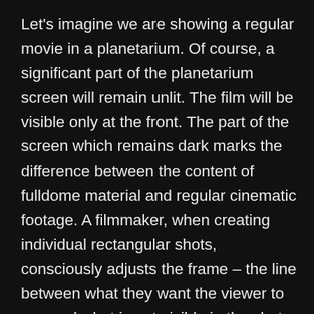Let's imagine we are showing a regular movie in a planetarium. Of course, a significant part of the planetarium screen will remain unlit. The film will be visible only at the front. The part of the screen which remains dark marks the difference between the content of fulldome material and regular cinematic footage. A filmmaker, when creating individual rectangular shots, consciously adjusts the frame – the line between what they want the viewer to see and what is not visible in the shot. In case the same film was to be shown on the dome of a planetarium as fulldome, it would be necessary to abandon the concept of a frame and expand the camera view in order to show everything that, in a classic movie, is left outside of the frame, and to